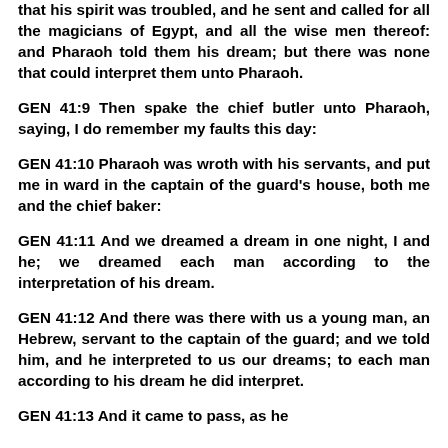that his spirit was troubled, and he sent and called for all the magicians of Egypt, and all the wise men thereof: and Pharaoh told them his dream; but there was none that could interpret them unto Pharaoh.
GEN 41:9 Then spake the chief butler unto Pharaoh, saying, I do remember my faults this day:
GEN 41:10 Pharaoh was wroth with his servants, and put me in ward in the captain of the guard's house, both me and the chief baker:
GEN 41:11 And we dreamed a dream in one night, I and he; we dreamed each man according to the interpretation of his dream.
GEN 41:12 And there was there with us a young man, an Hebrew, servant to the captain of the guard; and we told him, and he interpreted to us our dreams; to each man according to his dream he did interpret.
GEN 41:13 And it came to pass, as he